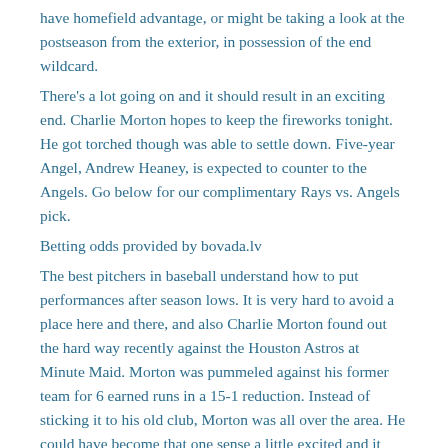have homefield advantage, or might be taking a look at the postseason from the exterior, in possession of the end wildcard.
There's a lot going on and it should result in an exciting end. Charlie Morton hopes to keep the fireworks tonight. He got torched though was able to settle down. Five-year Angel, Andrew Heaney, is expected to counter to the Angels. Go below for our complimentary Rays vs. Angels pick.
Betting odds provided by bovada.lv
The best pitchers in baseball understand how to put performances after season lows. It is very hard to avoid a place here and there, and also Charlie Morton found out the hard way recently against the Houston Astros at Minute Maid. Morton was pummeled against his former team for 6 earned runs in a 15-1 reduction. Instead of sticking it to his old club, Morton was all over the area. He could have become that one sense a little excited and it resulted in a lack of control. His